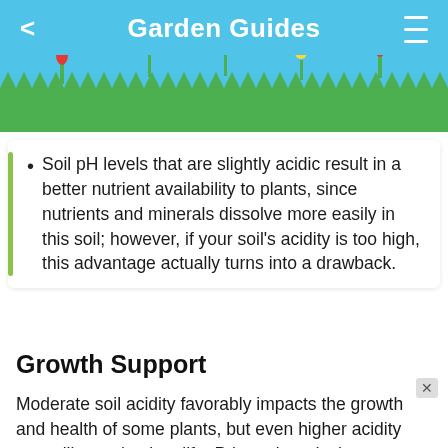Garden Guides
[Figure (illustration): Decorative garden header with grass, flowers, and a butterfly on a sky-blue background]
Soil pH levels that are slightly acidic result in a better nutrient availability to plants, since nutrients and minerals dissolve more easily in this soil; however, if your soil's acidity is too high, this advantage actually turns into a drawback.
Growth Support
Moderate soil acidity favorably impacts the growth and health of some plants, but even higher acidity can still sustain plant life. Prior to introducing new plants into